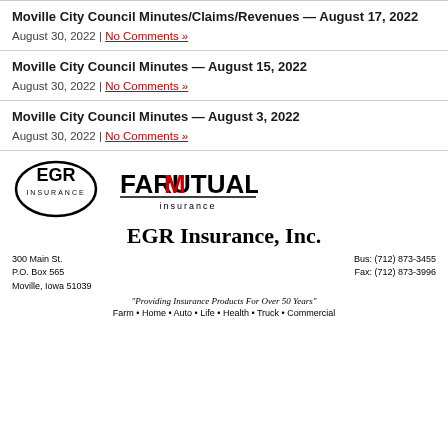Moville City Council Minutes/Claims/Revenues — August 17, 2022
August 30, 2022 | No Comments »
Moville City Council Minutes — August 15, 2022
August 30, 2022 | No Comments »
Moville City Council Minutes — August 3, 2022
August 30, 2022 | No Comments »
[Figure (logo): EGR Insurance and Farm Mutual Insurance logos side by side, followed by EGR Insurance Inc. advertisement with address 300 Main St., P.O. Box 565, Moville, Iowa 51039, Bus: (712) 873-3455, Fax: (712) 873-3996, tagline Providing Insurance Products For Over 50 Years, services Farm Home Auto Life Health Truck Commercial]